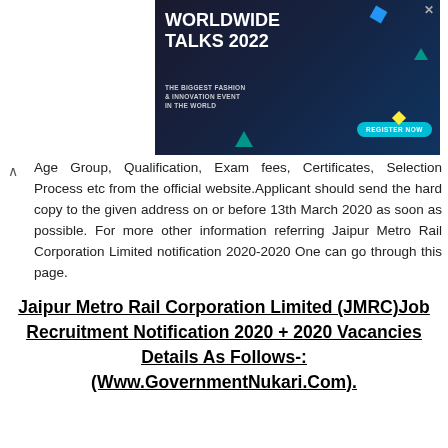[Figure (other): Advertisement banner for Worldwide Talks 2022 - The Biggest Fashion & Innovation Event in the World with Register Now button]
Age Group, Qualification, Exam fees, Certificates, Selection Process etc from the official website.Applicant should send the hard copy to the given address on or before 13th March 2020 as soon as possible. For more other information referring Jaipur Metro Rail Corporation Limited notification 2020-2020 One can go through this page.
Jaipur Metro Rail Corporation Limited (JMRC)Job Recruitment Notification 2020 + 2020 Vacancies Details As Follows-: (Www.GovernmentNukari.Com).